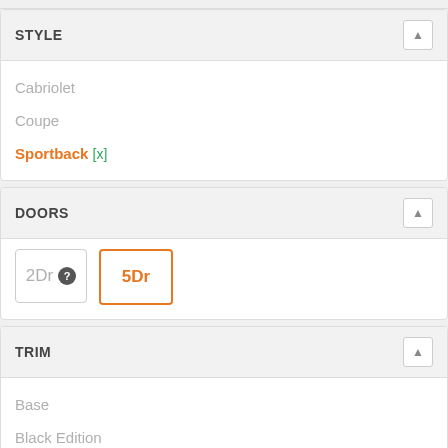STYLE
Cabriolet
Coupe
Sportback [x]
DOORS
2Dr
5Dr
TRIM
Base
Black Edition
Black Edition Comfort Sound
Carbon Black